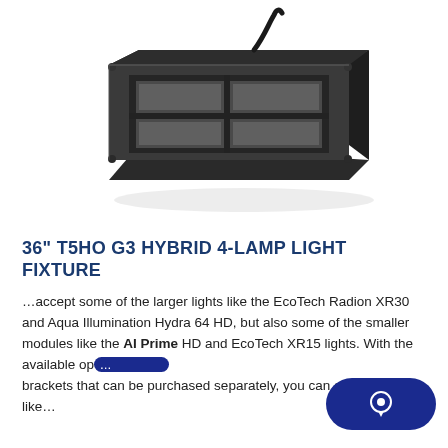[Figure (photo): A black rectangular T5HO G3 Hybrid 4-lamp light fixture viewed at an angle, showing the frame with four rectangular lamp openings arranged in a grid pattern, with a power cord extending from the top.]
36" T5HO G3 HYBRID 4-LAMP LIGHT FIXTURE
...accept some of the larger lights like the EcoTech Radion XR30 and Aqua Illumination Hydra 64 HD, but also some of the smaller modules like the AI Prime HD and EcoTech XR15 lights. With the available op... brackets that can be purchased separately, you can also ... like...